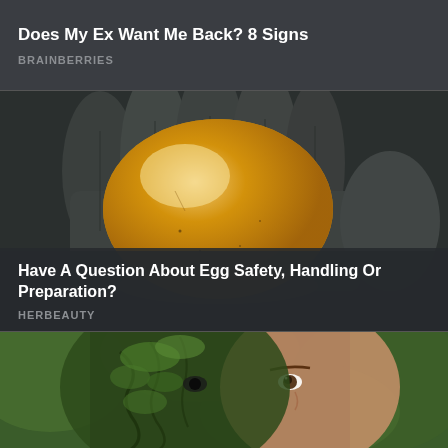Does My Ex Want Me Back? 8 Signs
BRAINBERRIES
[Figure (photo): Close-up of a translucent amber/golden egg-like object being held in gloved hands, photographed against a dark background]
Have A Question About Egg Safety, Handling Or Preparation?
HERBEAUTY
[Figure (photo): Portrait of a person with face partially covered by mossy bark or tree material, against a green blurred background]